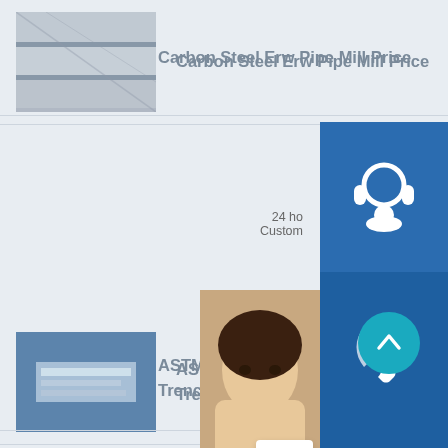[Figure (screenshot): Product listing page for steel pipes and plates with thumbnails and product titles on a light blue-gray background. Overlaid with customer service widgets (headset icon, phone icon, Skype icon) on blue panels, a chat popup, and a teal scroll-to-top button.]
Carbon Steel Erw Pipe Mill Price
ASTM Factory Selling St... Trench Cover SUS304 S
24 ho... Custom...
Hello,h... hel...
Chat Now
ASTM A106 Gr. B Galvan... Seamless Steel Pipe
Xar300 Nm400 Weldox960